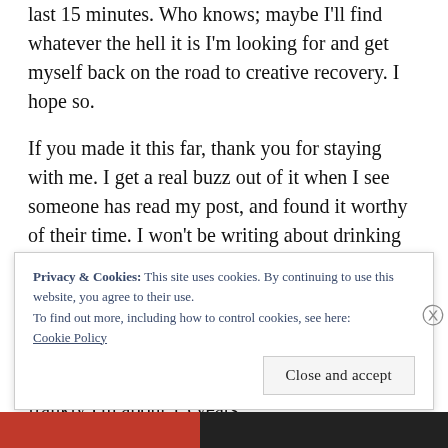last 15 minutes. Who knows; maybe I'll find whatever the hell it is I'm looking for and get myself back on the road to creative recovery. I hope so.
If you made it this far, thank you for staying with me. I get a real buzz out of it when I see someone has read my post, and found it worthy of their time. I won't be writing about drinking again, nor binges or my fear I'll end up a homeless, drunk wandering the Sydney city streets begging for change. I'll keep those posts where they belong. My other blog. So I'm 12 days late for my year without drinking but frankly I'm about 15 years l
Privacy & Cookies: This site uses cookies. By continuing to use this website, you agree to their use. To find out more, including how to control cookies, see here: Cookie Policy
Close and accept